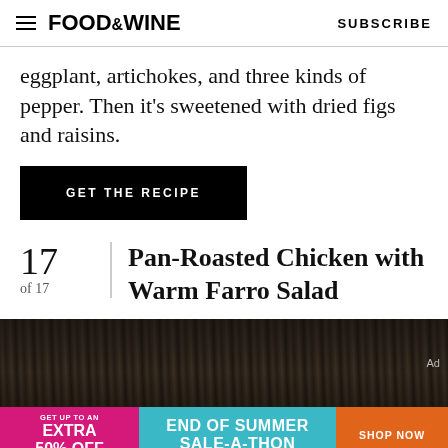FOOD&WINE   SUBSCRIBE
eggplant, artichokes, and three kinds of pepper. Then it's sweetened with dried figs and raisins.
GET THE RECIPE
17 of 17   Pan-Roasted Chicken with Warm Farro Salad
[Figure (photo): Dark wooden surface with food, partial image of a dish]
[Figure (infographic): Ad banner: GET UP TO AN EXTRA 50% OFF | END OF SUMMER SALE-A-THON | SHOP NOW]